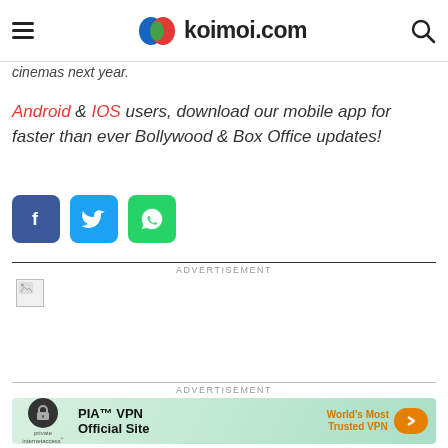koimoi.com
cinemas next year.
Android & IOS users, download our mobile app for faster than ever Bollywood & Box Office updates!
[Figure (infographic): Social share buttons: Facebook (blue), Twitter (light blue), WhatsApp (green)]
ADVERTISEMENT
[Figure (other): Broken/placeholder advertisement image]
ADVERTISEMENT
[Figure (infographic): PIA VPN advertisement banner - World's Most Trusted VPN]